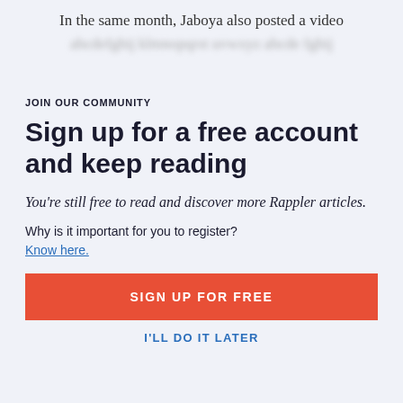In the same month, Jaboya also posted a video
JOIN OUR COMMUNITY
Sign up for a free account and keep reading
You're still free to read and discover more Rappler articles.
Why is it important for you to register?
Know here.
SIGN UP FOR FREE
I'LL DO IT LATER